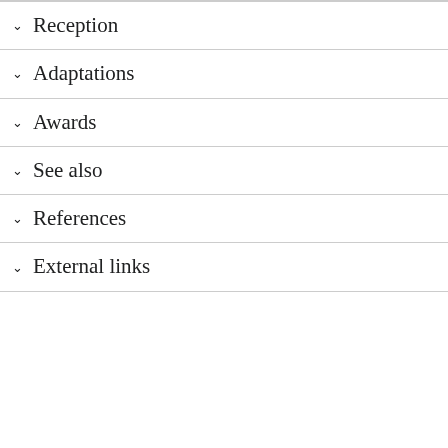Reception
Adaptations
Awards
See also
References
External links